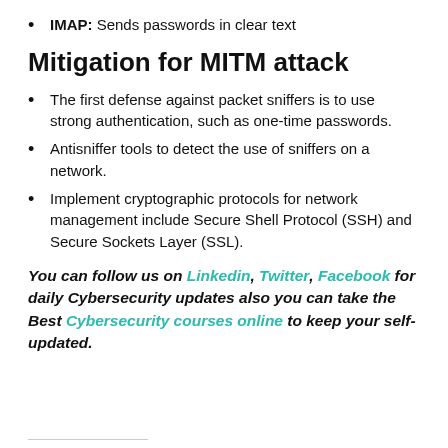IMAP: Sends passwords in clear text
Mitigation for MITM attack
The first defense against packet sniffers is to use strong authentication, such as one-time passwords.
Antisniffer tools to detect the use of sniffers on a network.
Implement cryptographic protocols for network management include Secure Shell Protocol (SSH) and Secure Sockets Layer (SSL).
You can follow us on Linkedin, Twitter, Facebook for daily Cybersecurity updates also you can take the Best Cybersecurity courses online to keep your self-updated.